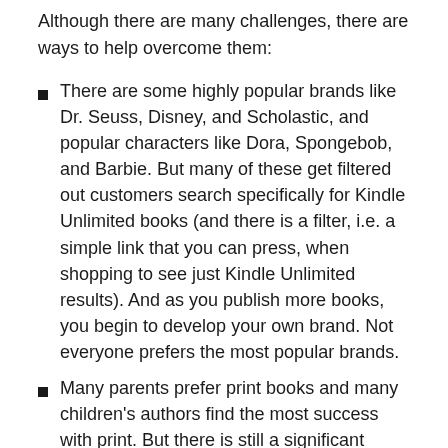Although there are many challenges, there are ways to help overcome them:
There are some highly popular brands like Dr. Seuss, Disney, and Scholastic, and popular characters like Dora, Spongebob, and Barbie. But many of these get filtered out customers search specifically for Kindle Unlimited books (and there is a filter, i.e. a simple link that you can press, when shopping to see just Kindle Unlimited results). And as you publish more books, you begin to develop your own brand. Not everyone prefers the most popular brands.
Many parents prefer print books and many children's authors find the most success with print. But there is still a significant number of parents who let their kids spend some time on Kindle, and there is much less